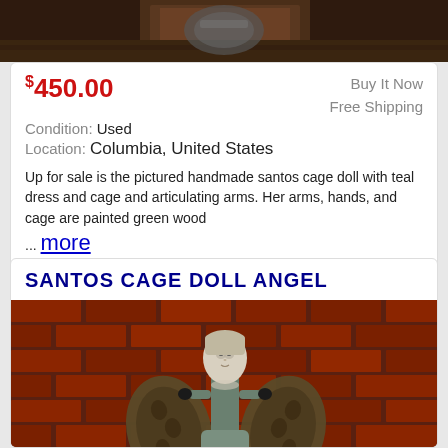[Figure (photo): Top portion of a product image showing a partial view of a santos cage doll item against a dark brown wooden background]
$450.00
Buy It Now
Free Shipping
Condition: Used
Location: Columbia, United States
Up for sale is the pictured handmade santos cage doll with teal dress and cage and articulating arms. Her arms, hands, and cage are painted green wood ... more
SANTOS CAGE DOLL ANGEL
[Figure (photo): Photo of a santos cage doll angel figurine with a pale face, wearing a teal/grey dress, with wooden wings, standing against a red brick wall background]